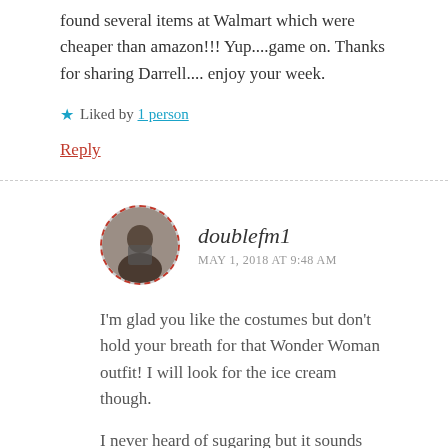found several items at Walmart which were cheaper than amazon!!! Yup....game on. Thanks for sharing Darrell.... enjoy your week.
★ Liked by 1 person
Reply
[Figure (photo): Circular avatar photo of commenter doublefm1 with dashed red border]
doublefm1
MAY 1, 2018 AT 9:48 AM
I'm glad you like the costumes but don't hold your breath for that Wonder Woman outfit! I will look for the ice cream though.
I never heard of sugaring but it sounds legit though...